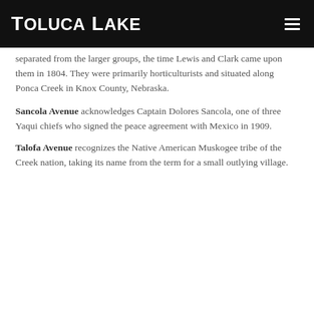Toluca Lake
separated from the larger groups, the time Lewis and Clark came upon them in 1804. They were primarily horticulturists and situated along Ponca Creek in Knox County, Nebraska.
Sancola Avenue acknowledges Captain Dolores Sancola, one of three Yaqui chiefs who signed the peace agreement with Mexico in 1909.
Talofa Avenue recognizes the Native American Muskogee tribe of the Creek nation, taking its name from the term for a small outlying village.